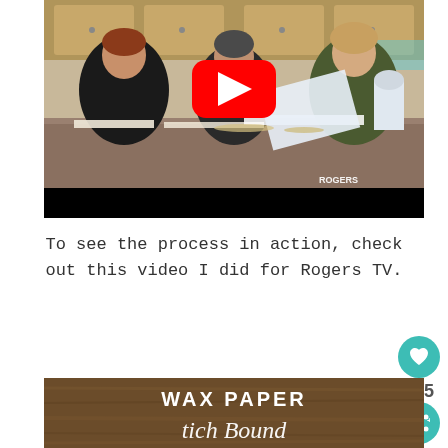[Figure (screenshot): YouTube video thumbnail showing three women at a table with craft materials. A large red YouTube play button is centered on the image. Rogers TV watermark in bottom right. Black bar at bottom of video player.]
To see the process in action, check out this video I did for Rogers TV.
[Figure (photo): Image with wood grain background showing text 'WAX PAPER' in bold white letters and a cursive subtitle below.]